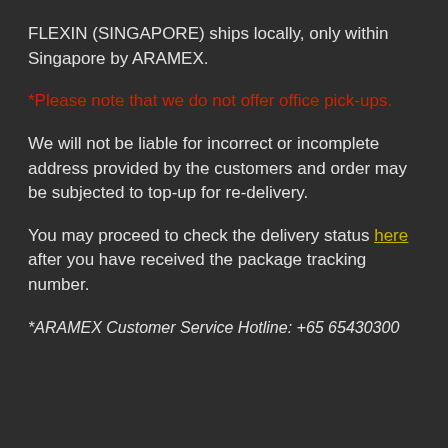FLEXIN (SINGAPORE) ships locally, only within Singapore by ARAMEX.
*Please note that we do not offer office pick-ups.
We will not be liable for incorrect or incomplete address provided by the customers and order may be subjected to top-up for re-delivery.
You may proceed to check the delivery status here after you have received the package tracking number.
*ARAMEX Customer Service Hotline: +65 65430300